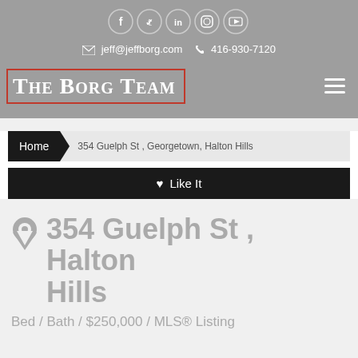[Figure (other): Social media icons row: Facebook, Twitter, LinkedIn, Instagram, YouTube]
jeff@jeffborg.com  416-930-7120
The Borg Team
Home  354 Guelph St , Georgetown, Halton Hills
♥ Like It
354 Guelph St , Halton Hills
Bed / Bath / $250,000 / MLS® Listing